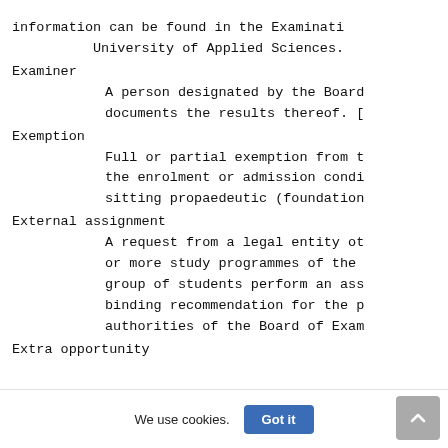information can be found in the Examinati University of Applied Sciences.
Examiner
    A person designated by the Board documents the results thereof. [
Exemption
    Full or partial exemption from t the enrolment or admission condi sitting propaedeutic (foundation
External assignment
    A request from a legal entity ot or more study programmes of the group of students perform an ass binding recommendation for the p authorities of the Board of Exam
Extra opportunity